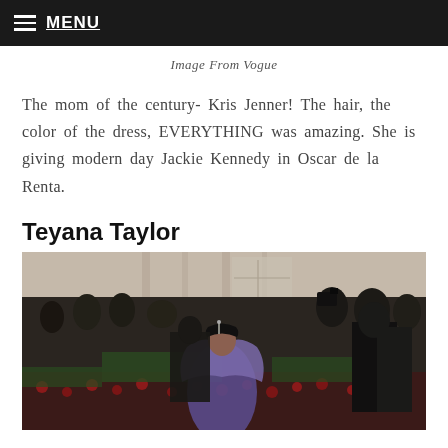MENU
Image From Vogue
The mom of the century- Kris Jenner! The hair, the color of the dress, EVERYTHING was amazing. She is giving modern day Jackie Kennedy in Oscar de la Renta.
Teyana Taylor
[Figure (photo): Teyana Taylor at what appears to be the Met Gala red carpet event, wearing a purple/blue fur-trimmed outfit, surrounded by photographers and crowds wearing masks, with red roses visible in the background.]